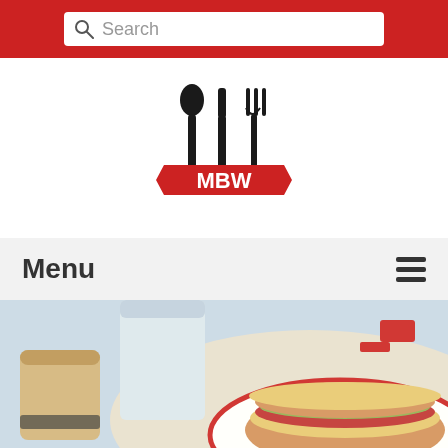Search
[Figure (logo): MBW logo with fork, knife, and spoon silhouettes, red banner with MBW text]
Menu
[Figure (photo): Overhead photo of a sandwich on a white plate with red rim, accompanied by drinks on a table]